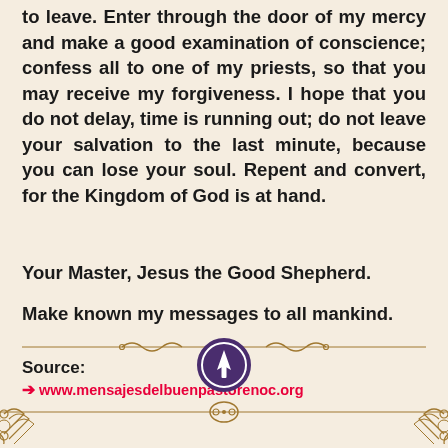to leave. Enter through the door of my mercy and make a good examination of conscience; confess all to one of my priests, so that you may receive my forgiveness. I hope that you do not delay, time is running out; do not leave your salvation to the last minute, because you can lose your soul. Repent and convert, for the Kingdom of God is at hand.
Your Master, Jesus the Good Shepherd.
Make known my messages to all mankind.
[Figure (illustration): Decorative ornamental divider with scrollwork and a central circle motif in gold/dark gold color]
Source:
➔ www.mensajesdelbuenpastorenoc.org
[Figure (logo): Purple circle with white upward-pointing arrow/compass icon inside]
[Figure (illustration): Bottom border with gold decorative corner flourishes and central ornament]